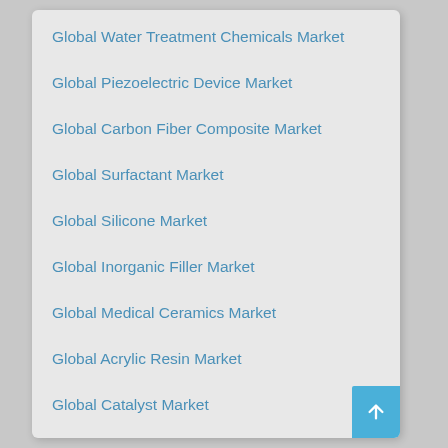Global Water Treatment Chemicals Market
Global Piezoelectric Device Market
Global Carbon Fiber Composite Market
Global Surfactant Market
Global Silicone Market
Global Inorganic Filler Market
Global Medical Ceramics Market
Global Acrylic Resin Market
Global Catalyst Market
Global Polyamide Market
Global Biomedical Metal Market